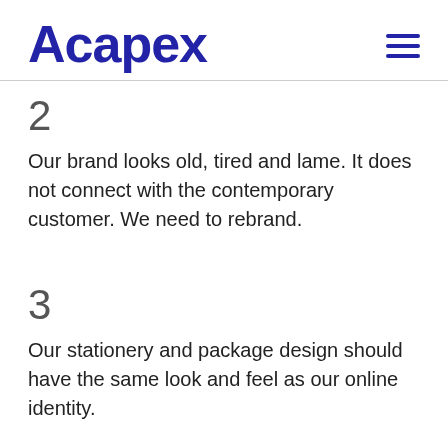Acapex
2
Our brand looks old, tired and lame. It does not connect with the contemporary customer. We need to rebrand.
3
Our stationery and package design should have the same look and feel as our online identity.